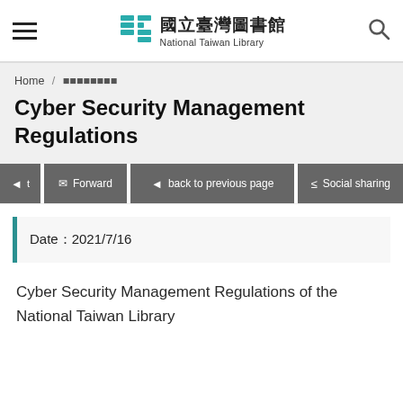國立臺灣圖書館 National Taiwan Library
Home / 資訊服務專區
Cyber Security Management Regulations
Forward | back to previous page | Social sharing
Date：2021/7/16
Cyber Security Management Regulations of the National Taiwan Library